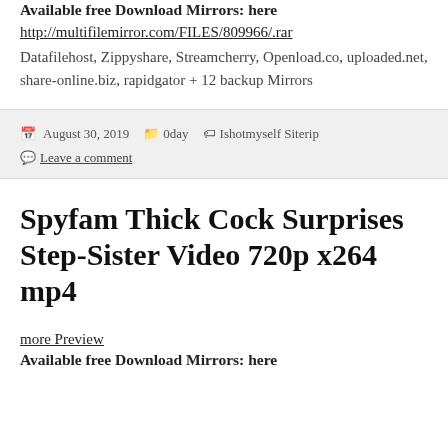Available free Download Mirrors: here
http://multifilemirror.com/FILES/809966/.rar
Datafilehost, Zippyshare, Streamcherry, Openload.co, uploaded.net, share-online.biz, rapidgator + 12 backup Mirrors
August 30, 2019   0day   Ishotmyself Siterip
Leave a comment
Spyfam Thick Cock Surprises Step-Sister Video 720p x264 mp4
more Preview
Available free Download Mirrors: here